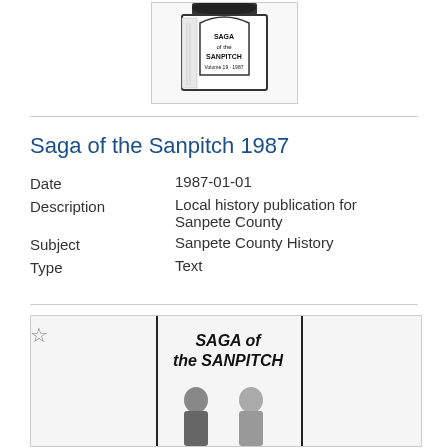[Figure (illustration): Book cover thumbnail of Saga of the Sanpitch Volume 19-1987, showing a building illustration and text]
Saga of the Sanpitch 1987
Date   1987-01-01
Description   Local history publication for Sanpete County
Subject   Sanpete County History
Type   Text
[Figure (illustration): Book cover of Saga of the Sanpitch showing 'SAGA of the SANPITCH' text and two people in historical dress]